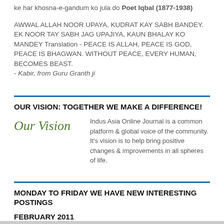ke har khosna-e-gandum ko jula do Poet Iqbal (1877-1938)

AWWAL ALLAH NOOR UPAYA, KUDRAT KAY SABH BANDEY. EK NOOR TAY SABH JAG UPAJIYA, KAUN BHALAY KO MANDEY Translation - PEACE IS ALLAH, PEACE IS GOD, PEACE IS BHAGWAN. WITHOUT PEACE, EVERY HUMAN, BECOMES BEAST. - Kabir, from Guru Granth ji
OUR VISION: TOGETHER WE MAKE A DIFFERENCE!
[Figure (illustration): Cursive script logo reading 'Our Vision' in olive/dark green italic text]
Indus Asia Online Journal is a common platform & global voice of the community. It's vision is to help bring positive changes & improvements in all spheres of life.
MONDAY TO FRIDAY WE HAVE NEW INTERESTING POSTINGS
FEBRUARY 2011